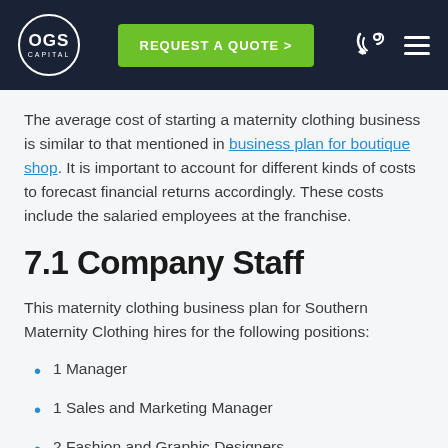OGS Capital | REQUEST A QUOTE
The average cost of starting a maternity clothing business is similar to that mentioned in business plan for boutique shop. It is important to account for different kinds of costs to forecast financial returns accordingly. These costs include the salaried employees at the franchise.
7.1 Company Staff
This maternity clothing business plan for Southern Maternity Clothing hires for the following positions:
1 Manager
1 Sales and Marketing Manager
2 Fashion and Graphic Designers